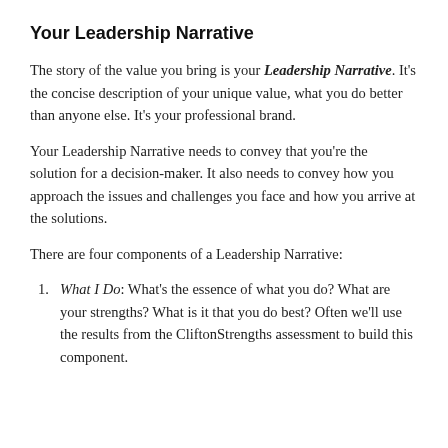Your Leadership Narrative
The story of the value you bring is your Leadership Narrative. It’s the concise description of your unique value, what you do better than anyone else. It’s your professional brand.
Your Leadership Narrative needs to convey that you’re the solution for a decision-maker. It also needs to convey how you approach the issues and challenges you face and how you arrive at the solutions.
There are four components of a Leadership Narrative:
What I Do: What’s the essence of what you do? What are your strengths? What is it that you do best? Often we’ll use the results from the CliftonStrengths assessment to build this component.